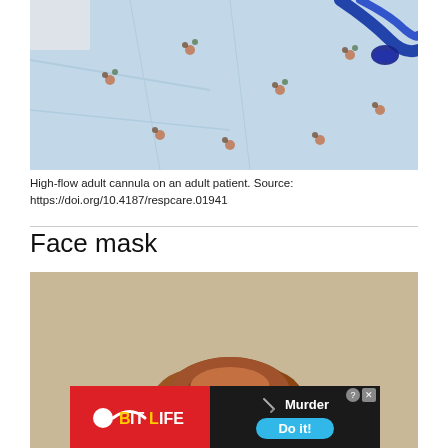[Figure (photo): High-flow adult nasal cannula on an adult patient lying down, wearing a light blue floral hospital gown, with a blue oxygen tubing visible at top right.]
High-flow adult cannula on an adult patient. Source: https://doi.org/10.4187/respcare.01941
Face mask
[Figure (photo): Photo of a person with reddish-brown hair seen from above/behind, with a 'Support Us' red button overlay and a BitLife advertisement banner at the bottom showing 'Murder Do it!' text.]